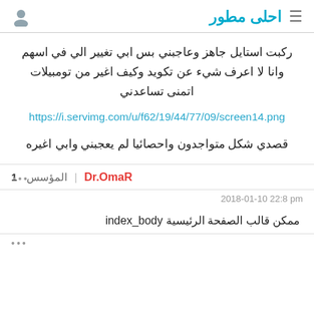احلى مطور
ركبت استايل جاهز وعاجبني بس ابي تغيير الي في اسهم وانا لا اعرف شيء عن تكويد وكيف اغير من تومبيلات
اتمنى تساعدني
https://i.servimg.com/u/f62/19/44/77/09/screen14.png
قصدي شكل متواجدون واحصائيا لم يعجبني وابي اغيره
Dr.OmaR | المؤسس
2018-01-10 22:8 pm
ممكن قالب الصفحة الرئيسية index_body